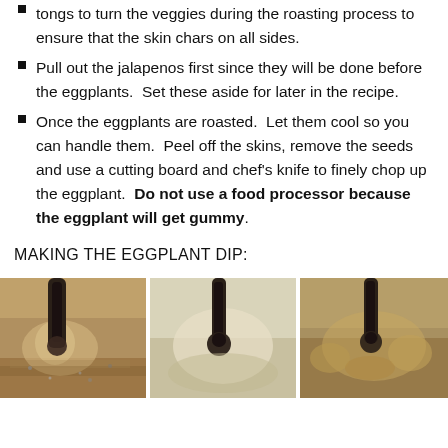tongs to turn the veggies during the roasting process to ensure that the skin chars on all sides.
Pull out the jalapenos first since they will be done before the eggplants.  Set these aside for later in the recipe.
Once the eggplants are roasted.  Let them cool so you can handle them.  Peel off the skins, remove the seeds and use a cutting board and chef’s knife to finely chop up the eggplant.  Do not use a food processor because the eggplant will get gummy.
MAKING THE EGGPLANT DIP:
[Figure (photo): Three photos showing ingredients being mixed in a food processor bowl, showing progressive stages of making eggplant dip.]